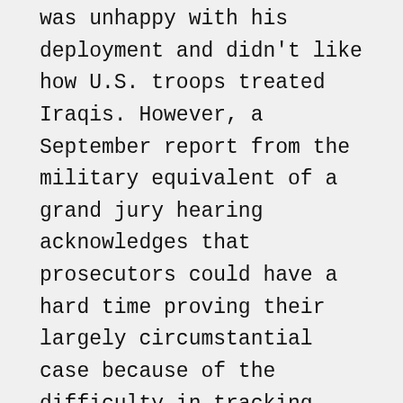was unhappy with his deployment and didn't like how U.S. troops treated Iraqis. However, a September report from the military equivalent of a grand jury hearing acknowledges that prosecutors could have a hard time proving their largely circumstantial case because of the difficulty in tracking down witnesses.
The case began when Hassoun went missing from a base in Fallujah in June 2004. Days later, he appeared blindfolded and with a sword poised above his head in a photo purportedly taken by insurgents. An extremist group claimed to be holding him captive.
Not long after that, Hassoun turned up unharmed at the U.S. Embassy in Beirut, Lebanon, saying he'd been